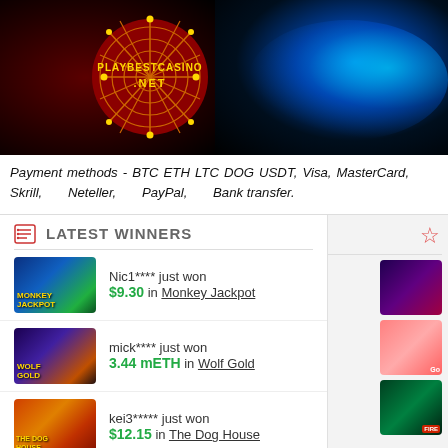[Figure (screenshot): PlayBestCasino.net casino banner with spider web logo on dark red/black background with blue glowing effects]
Payment methods - BTC ETH LTC DOG USDT, Visa, MasterCard, Skrill, Neteller, PayPal, Bank transfer.
LATEST WINNERS
Nic1**** just won $9.30 in Monkey Jackpot
mick**** just won 3.44 mETH in Wolf Gold
kei3***** just won $12.15 in The Dog House